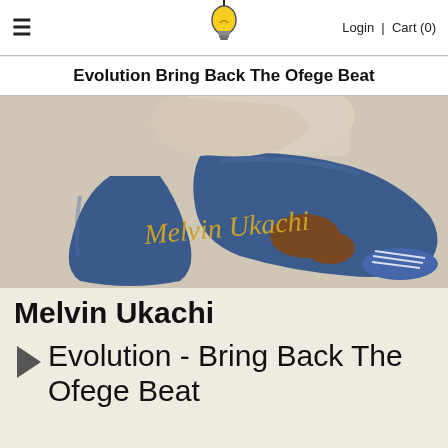☰  [bulb logo]  Login | Cart (0)
Evolution Bring Back The Ofege Beat
[Figure (photo): Album cover photograph showing Melvin Ukachi seated wearing jeans and a light shirt, with the text 'Melvin Ukachi' written in gold italic script on the jeans leg. Background is light grey.]
Melvin Ukachi
Evolution - Bring Back The Ofege Beat